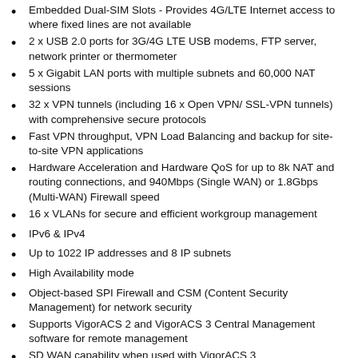Embedded Dual-SIM Slots - Provides 4G/LTE Internet access to where fixed lines are not available
2 x USB 2.0 ports for 3G/4G LTE USB modems, FTP server, network printer or thermometer
5 x Gigabit LAN ports with multiple subnets and 60,000 NAT sessions
32 x VPN tunnels (including 16 x Open VPN/ SSL-VPN tunnels) with comprehensive secure protocols
Fast VPN throughput, VPN Load Balancing and backup for site-to-site VPN applications
Hardware Acceleration and Hardware QoS for up to 8k NAT and routing connections, and 940Mbps (Single WAN) or 1.8Gbps (Multi-WAN) Firewall speed
16 x VLANs for secure and efficient workgroup management
IPv6 & IPv4
Up to 1022 IP addresses and 8 IP subnets
High Availability mode
Object-based SPI Firewall and CSM (Content Security Management) for network security
Supports VigorACS 2 and VigorACS 3 Central Management software for remote management
SD WAN capability when used with VigorACS 3
Central VPN Management for up to 8 remote Vigor routers
Central AP Management for up to 20 Vigor Access Points
Central Switch Management for up to 10 VigorSwitches